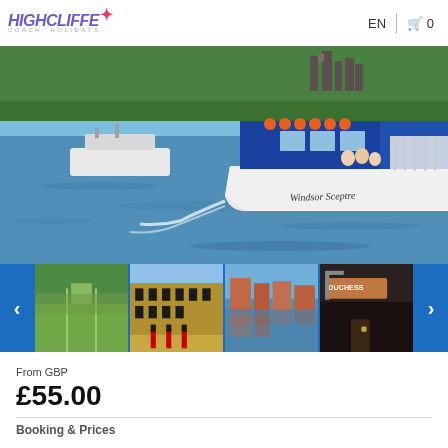Highcliffe Coach Holidays — EN | Cart 0
[Figure (photo): A river cruise boat named Windsor Sceptre on the River Thames, with trees and a castle visible in the background. Other boats visible on the river.]
[Figure (photo): Thumbnail strip showing four images: Windsor Castle aerial view with Long Walk, Windsor Castle facade with guards, Henley-on-Thames riverside, and Duchess pub/venue exterior.]
From GBP
£55.00
Booking & Prices